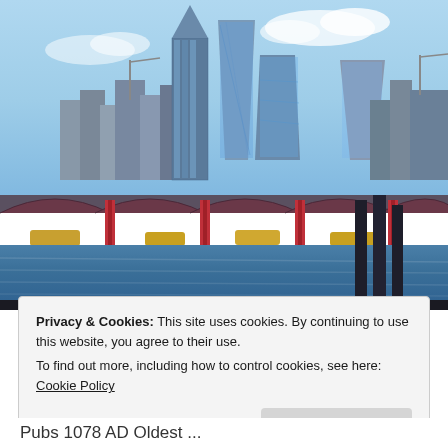[Figure (photo): Photograph of the London skyline with modern skyscrapers including the Cheesegrater and Walkie-Talkie buildings, viewed across the River Thames over Blackfriars Bridge on a sunny day with blue sky and clouds.]
Privacy & Cookies: This site uses cookies. By continuing to use this website, you agree to their use.
To find out more, including how to control cookies, see here: Cookie Policy
Close and accept
Pubs 1078 AD Oldest ...